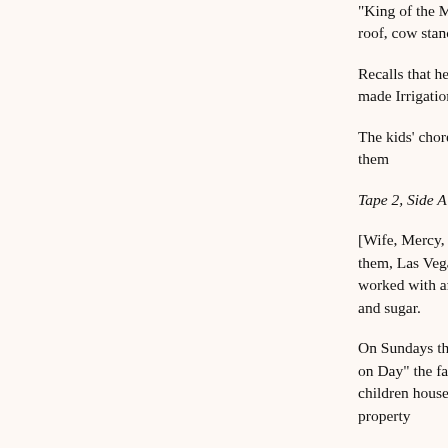"King of the Mountain" on haystacks. He recalls that the times. A 1965 tornado took a cottonwood tree, shed roof, cow standing unharmed.
Recalls that he used to get 50¢ a bale for hay in 1950. Fi bales annually. It is $5.00-$6.00 now. Last year, he made Irrigation is not going well this year.
The kids' chores were to carry water and wood, feed chic and clean house. No chickens anymore; dogs killed them
Tape 2, Side A
[Wife, Mercy, is no longer in the room.] Recalls that there nearby. They used home medicine. Wife doctored them, Las Vegas to the doctor (for immunizations), picked herb winter. He never had government help or worked with an agencies. His wife made cream and cottage cheese, and vegetables. They shopped for lard, flour and sugar.
On Sundays the Webers got together with neighbors. Cir 4th were spent in Las Vegas, N.M. Had fiesta in Mora on Day" the family went to Wagon Mound (32 miles away) a Families reunited at Bean Day. Joe's two oldest children house (with a curandera). The consultant's grandparents family members were buried on their land. This property
He recalls a typical breakfast of potatoes, eggs, bacon, a